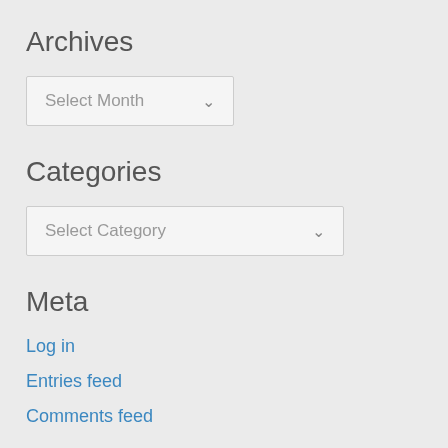Archives
Select Month (dropdown)
Categories
Select Category (dropdown)
Meta
Log in
Entries feed
Comments feed